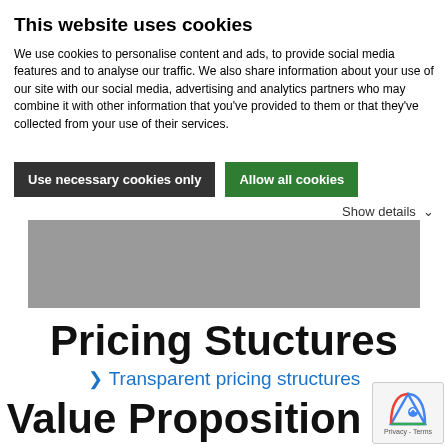This website uses cookies
We use cookies to personalise content and ads, to provide social media features and to analyse our traffic. We also share information about your use of our site with our social media, advertising and analytics partners who may combine it with other information that you've provided to them or that they've collected from your use of their services.
Use necessary cookies only
Allow all cookies
Show details ▾
[Figure (screenshot): Gray blurred banner image area]
Pricing Stuctures
› Transparent pricing structures
Value Proposition